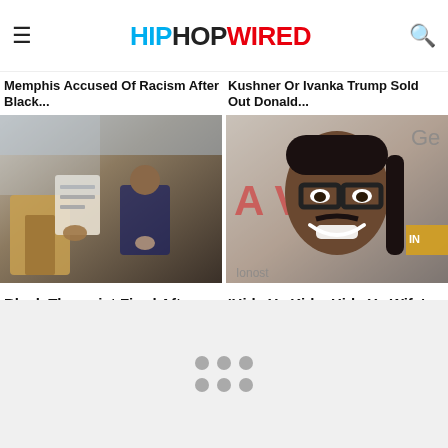HIPHOPWIRED
Memphis Accused Of Racism After Black...
Kushner Or Ivanka Trump Sold Out Donald...
[Figure (photo): People sitting in chairs with clipboards, therapy/interview scene]
[Figure (photo): Young Black man smiling with glasses and braids at an event]
Black Therapist Fired After Urging Black Men To Seek Therapy on TikTok
'Hide Yo Kids, Hide Yo Wife' Internet Sensation Antoine...